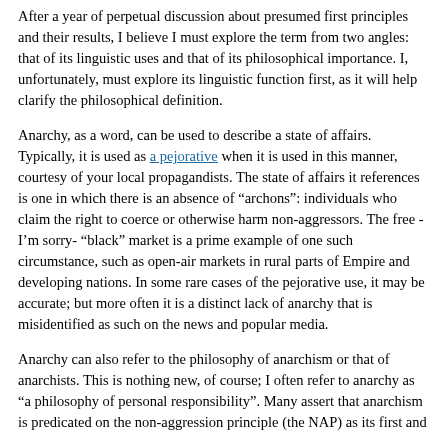After a year of perpetual discussion about presumed first principles and their results, I believe I must explore the term from two angles: that of its linguistic uses and that of its philosophical importance. I, unfortunately, must explore its linguistic function first, as it will help clarify the philosophical definition.
Anarchy, as a word, can be used to describe a state of affairs. Typically, it is used as a pejorative when it is used in this manner, courtesy of your local propagandists. The state of affairs it references is one in which there is an absence of "archons": individuals who claim the right to coerce or otherwise harm non-aggressors. The free -I'm sorry- "black" market is a prime example of one such circumstance, such as open-air markets in rural parts of Empire and developing nations. In some rare cases of the pejorative use, it may be accurate; but more often it is a distinct lack of anarchy that is misidentified as such on the news and popular media.
Anarchy can also refer to the philosophy of anarchism or that of anarchists. This is nothing new, of course; I often refer to anarchy as "a philosophy of personal responsibility". Many assert that anarchism is predicated on the non-aggression principle (the NAP) as its first and